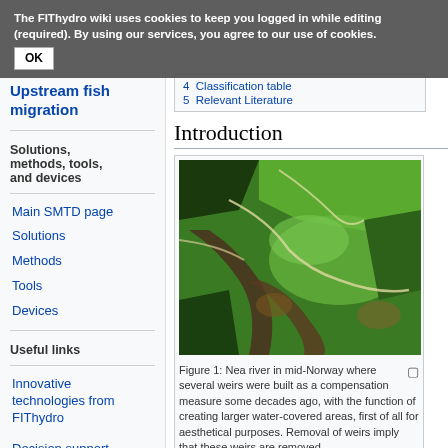The FIThydro wiki uses cookies to keep you logged in while editing (required). By using our services, you agree to our use of cookies.
OK
Upstream fish migration
Solutions, methods, tools, and devices
Main SMTD page
Solutions
Methods
Tools
Devices
Useful links
Innovative technologies from FIThydro
Decision support system (DSS)
| 4  Classification table |
| 5  Relevant Literature |
Introduction
[Figure (photo): Aerial photograph of Nea river in mid-Norway showing a winding dark-water river through green agricultural fields and forested hills]
Figure 1: Nea river in mid-Norway where several weirs were built as a compensation measure some decades ago, with the function of creating larger water-covered areas, first of all for aesthetical purposes. Removal of weirs imply that these weirs are removed